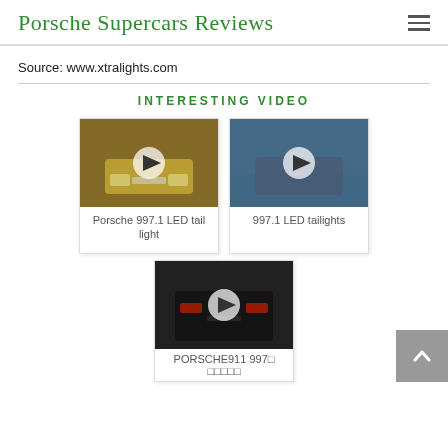Porsche Supercars Reviews
Source: www.xtralights.com
INTERESTING VIDEO
[Figure (screenshot): Video thumbnail of yellow Porsche 997.1 showing rear LED tail lights with play button overlay]
Porsche 997.1 LED tail light
[Figure (screenshot): Video thumbnail of blue/grey Porsche in garage with people around it and play button overlay]
997.1 LED tailights
[Figure (screenshot): Video thumbnail of dark Porsche 911 997 showing rear LED tail lights with play button overlay]
PORSCHE911 997